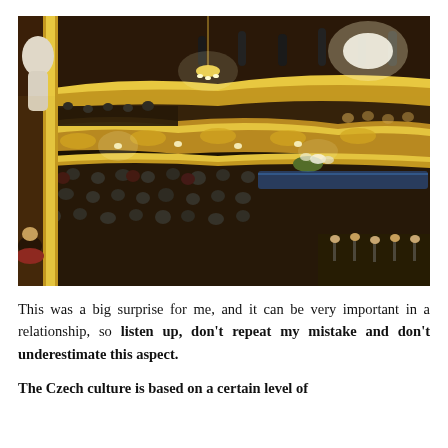[Figure (photo): Interior of an ornate opera house or theater, photographed from a balcony. Golden baroque decorations line the curved balcony tiers. Well-dressed audience members in formal attire fill the seats. Chandeliers and warm lights illuminate the space. An orchestra is visible in the lower right.]
This was a big surprise for me, and it can be very important in a relationship, so listen up, don't repeat my mistake and don't underestimate this aspect.
The Czech culture is based on a certain level of